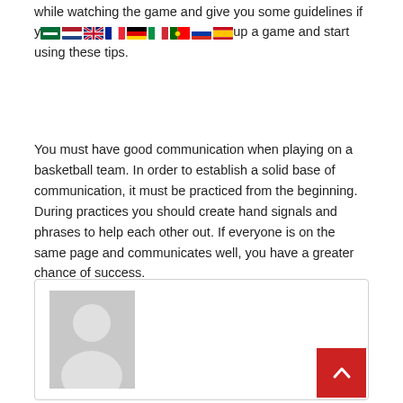while watching the game and give you some guidelines if y[flags]up a game and start using these tips.
You must have good communication when playing on a basketball team. In order to establish a solid base of communication, it must be practiced from the beginning. During practices you should create hand signals and phrases to help each other out. If everyone is on the same page and communicates well, you have a greater chance of success.
[Figure (photo): Generic user avatar placeholder image (gray silhouette of a person on gray background) inside a card/box with a red scroll-to-top button in the bottom right corner.]